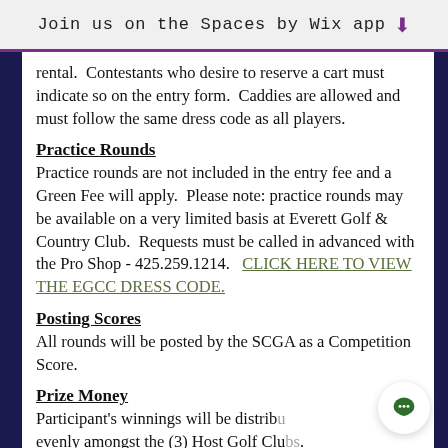Join us on the Spaces by Wix app ↓
rental.  Contestants who desire to reserve a cart must indicate so on the entry form.  Caddies are allowed and must follow the same dress code as all players.
Practice Rounds
Practice rounds are not included in the entry fee and a Green Fee will apply.  Please note: practice rounds may be available on a very limited basis at Everett Golf & Country Club.  Requests must be called in advanced with the Pro Shop - 425.259.1214.    CLICK HERE TO VIEW THE EGCC DRESS CODE.
Posting Scores
All rounds will be posted by the SCGA as a Competition Score.
Prize Money
Participant's winnings will be distributed evenly amongst the (3) Host Golf Clubs. The official results sheet will state where